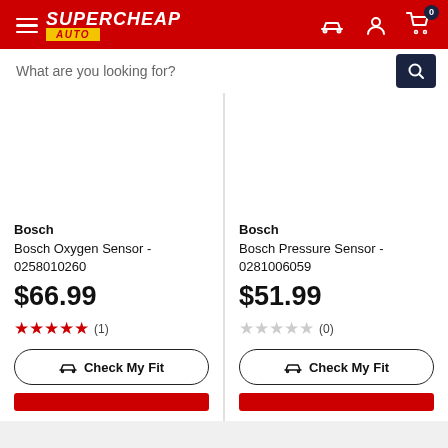Supercheap Auto
What are you looking for?
Bosch
Bosch Oxygen Sensor - 0258010260
$66.99
★★★★★ (1)
Check My Fit
Bosch
Bosch Pressure Sensor - 0281006059
$51.99
☆☆☆☆☆ (0)
Check My Fit